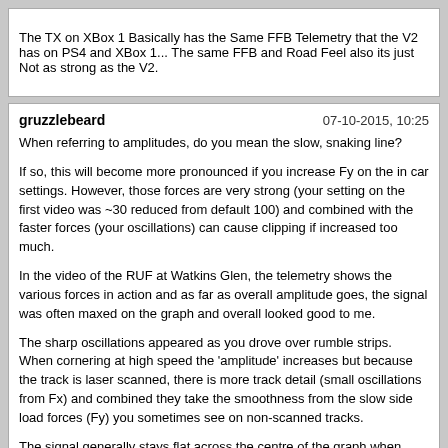The TX on XBox 1 Basically has the Same FFB Telemetry that the V2 has on PS4 and XBox 1... The same FFB and Road Feel also its just Not as strong as the V2.
gruzzlebeard
07-10-2015, 10:25
When referring to amplitudes, do you mean the slow, snaking line?

If so, this will become more pronounced if you increase Fy on the in car settings. However, those forces are very strong (your setting on the first video was ~30 reduced from default 100) and combined with the faster forces (your oscillations) can cause clipping if increased too much.

In the video of the RUF at Watkins Glen, the telemetry shows the various forces in action and as far as overall amplitude goes, the signal was often maxed on the graph and overall looked good to me.

The sharp oscillations appeared as you drove over rumble strips. When cornering at high speed the 'amplitude' increases but because the track is laser scanned, there is more track detail (small oscillations from Fx) and combined they take the smoothness from the slow side load forces (Fy) you sometimes see on non-scanned tracks.

The signal generally stays flat across the centre of the graph when driving in a straight line, except for the aforementioned tiny oscillations on laser scanned tracks. Brake and you will see the line stays flat but moves up the graph as both Fx and Fz come into play, add some steering angle and the force increases further due to Mz (tyre twist) and Fy (side load) to give some slight clipping.

All this is evident in your video, should be felt at the wheel on the evidence of the graph and can be balanced by the in car settings. In my experience with the T300, compression settings like Relative Adjust and Soft Clipping are felt more at the wheel than seen on the graph although I've never made big changes to their default settings.